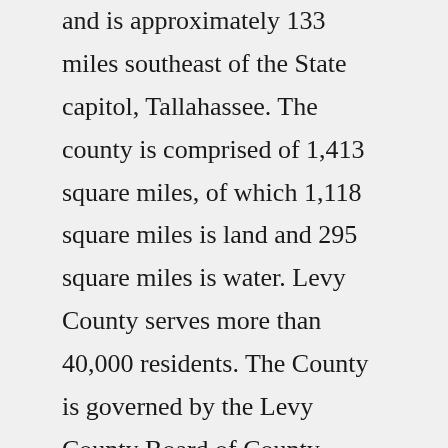and is approximately 133 miles southeast of the State capitol, Tallahassee. The county is comprised of 1,413 square miles, of which 1,118 square miles is land and 295 square miles is water. Levy County serves more than 40,000 residents. The County is governed by the Levy County Board of County ...MobileHome.net has 5 Mobile Home Parks in Bradford County, FL. Find a mobile home park, mobile home